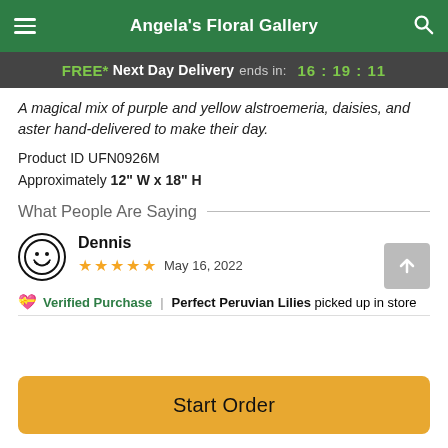Angela's Floral Gallery
FREE* Next Day Delivery ends in: 16:19:11
A magical mix of purple and yellow alstroemeria, daisies, and aster hand-delivered to make their day.
Product ID UFN0926M
Approximately 12" W x 18" H
What People Are Saying
Dennis — ★★★★★ — May 16, 2022
Verified Purchase | Perfect Peruvian Lilies picked up in store
Start Order